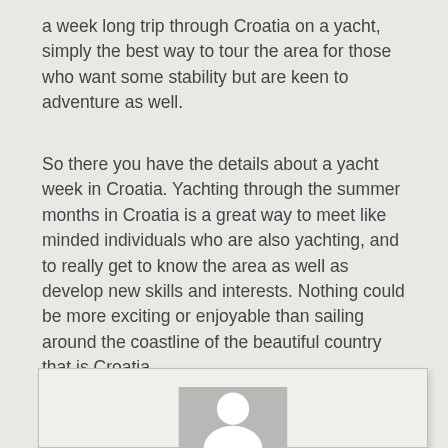a week long trip through Croatia on a yacht, simply the best way to tour the area for those who want some stability but are keen to adventure as well.
So there you have the details about a yacht week in Croatia. Yachting through the summer months in Croatia is a great way to meet like minded individuals who are also yachting, and to really get to know the area as well as develop new skills and interests. Nothing could be more exciting or enjoyable than sailing around the coastline of the beautiful country that is Croatia.
[Figure (photo): Author profile placeholder image: a grey rectangle with a white circle (head) and white partial circle (shoulders) representing a generic user avatar silhouette.]